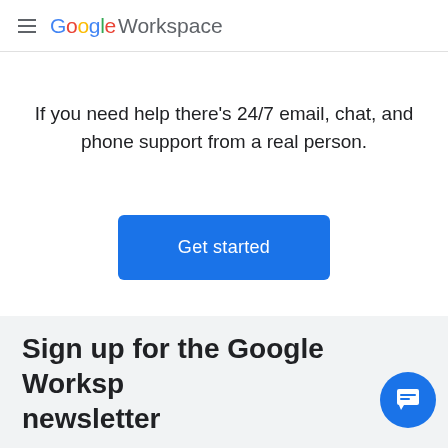Google Workspace
If you need help there's 24/7 email, chat, and phone support from a real person.
[Figure (other): Blue 'Get started' button]
Sign up for the Google Workspace newsletter